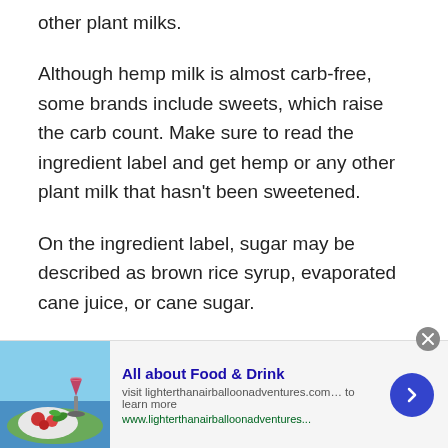other plant milks.
Although hemp milk is almost carb-free, some brands include sweets, which raise the carb count. Make sure to read the ingredient label and get hemp or any other plant milk that hasn't been sweetened.
On the ingredient label, sugar may be described as brown rice syrup, evaporated cane juice, or cane sugar.
The seeds of the Cannabis sativa plant are used to make hemp milk. While the drink isn't psychotropic, it does
[Figure (screenshot): Advertisement banner at bottom of page. Shows food and drink image on left (plate with food and wine glass), bold blue title 'All about Food & Drink', description text 'visit lighterthanairballoonadventures.com… to learn more', green URL 'www.lighterthanairballoonadventures...', and a blue circular arrow button on right. Close button (x) in top-right corner of banner.]